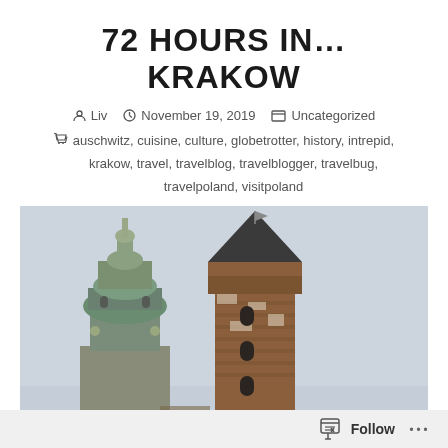72 HOURS IN… KRAKOW
Liv   November 19, 2019   Uncategorized
auschwitz, cuisine, culture, globetrotter, history, intrepid, krakow, travel, travelblog, travelblogger, travelbug, travelpoland, visitpoland
[Figure (photo): Looking up at two historic towers in Krakow, Poland — a green baroque dome tower on the left and a tall brick gothic tower on the right, against a pale grey-blue sky.]